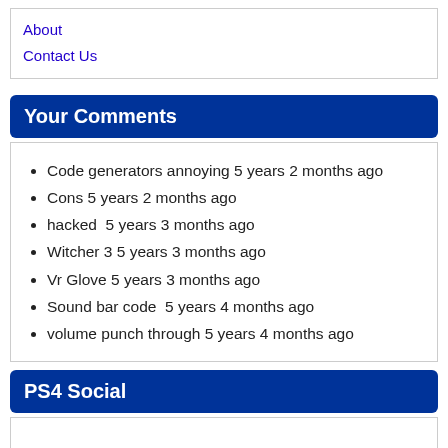About
Contact Us
Your Comments
Code generators annoying 5 years 2 months ago
Cons 5 years 2 months ago
hacked  5 years 3 months ago
Witcher 3 5 years 3 months ago
Vr Glove 5 years 3 months ago
Sound bar code  5 years 4 months ago
volume punch through 5 years 4 months ago
PS4 Social